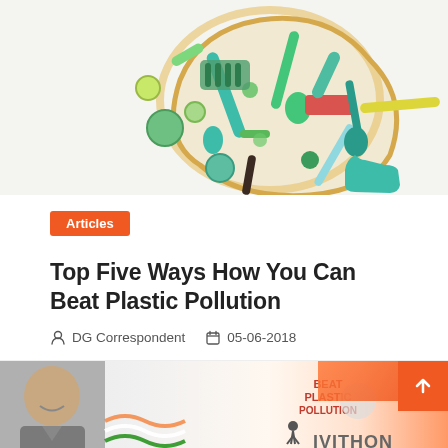[Figure (photo): Overhead photo of colorful plastic items and utensils spilled from a container on a white background. Items include green, teal, red, yellow plastic tools, caps, and various household plastic objects.]
Articles
Top Five Ways How You Can Beat Plastic Pollution
DG Correspondent  05-06-2018
[Figure (photo): Partial photo showing a smiling person (likely PM Modi) on the left, with a banner reading 'BEAT PLASTIC POLLUTION' and an Envithon event graphic with running figures.]